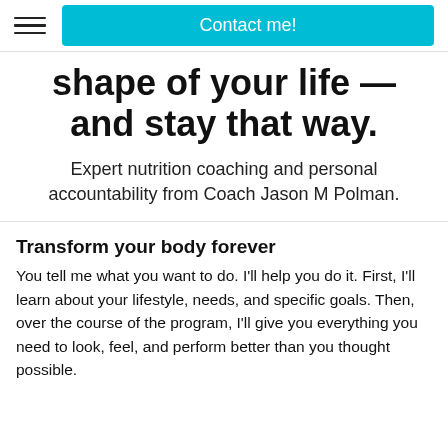Contact me!
shape of your life — and stay that way.
Expert nutrition coaching and personal accountability from Coach Jason M Polman.
Transform your body forever
You tell me what you want to do. I'll help you do it. First, I'll learn about your lifestyle, needs, and specific goals. Then, over the course of the program, I'll give you everything you need to look, feel, and perform better than you thought possible.